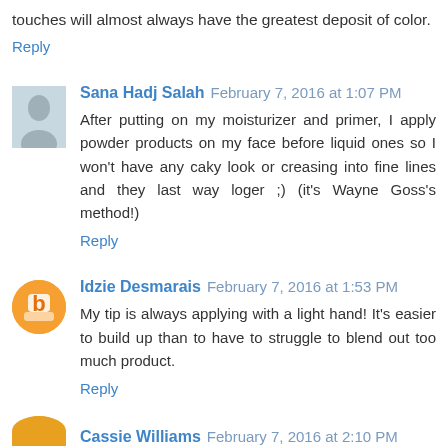touches will almost always have the greatest deposit of color.
Reply
Sana Hadj Salah  February 7, 2016 at 1:07 PM
After putting on my moisturizer and primer, I apply powder products on my face before liquid ones so I won't have any caky look or creasing into fine lines and they last way loger ;) (it's Wayne Goss's method!)
Reply
Idzie Desmarais  February 7, 2016 at 1:53 PM
My tip is always applying with a light hand! It's easier to build up than to have to struggle to blend out too much product.
Reply
Cassie Williams  February 7, 2016 at 2:10 PM